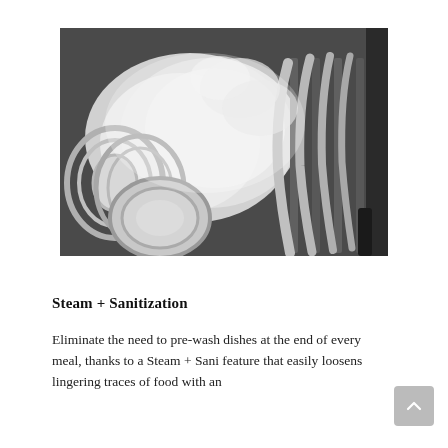[Figure (photo): Black and white photograph of the inside of a dishwasher filled with steam and dishes/plates in a rack]
Steam + Sanitization
Eliminate the need to pre-wash dishes at the end of every meal, thanks to a Steam + Sani feature that easily loosens lingering traces of food with an